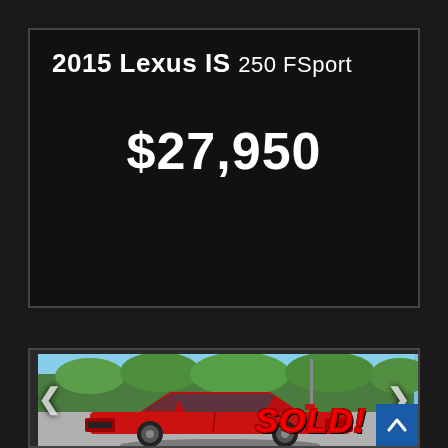2015 Lexus IS 250 FSport
$27,950
[Figure (photo): Red 2015 Lexus IS 250 FSport sedan photographed in a parking lot with green trees in the background on a sunny day. A large red 'SOLD!' text is overlaid in the bottom right of the image. Navigation arrows are visible on left and right sides of the image. A blue scroll-to-top button is in the bottom right corner.]